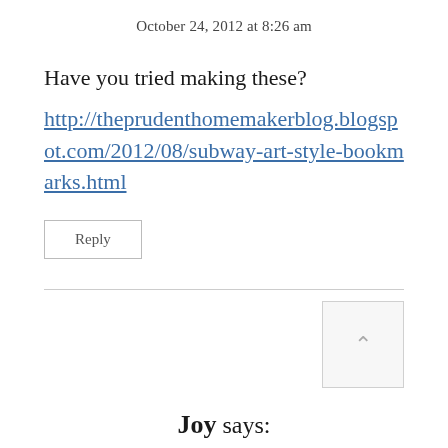October 24, 2012 at 8:26 am
Have you tried making these?
http://theprudenthomemakerblog.blogspot.com/2012/08/subway-art-style-bookmarks.html
Reply
Joy says: